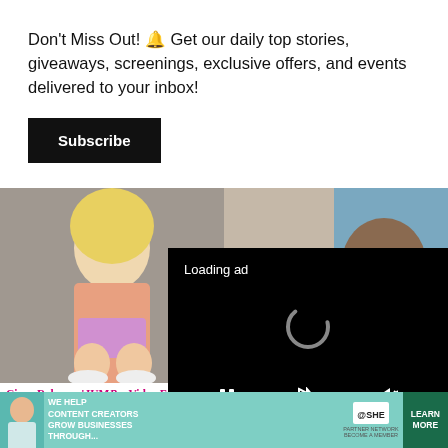Don't Miss Out! 🔔 Get our daily top stories, giveaways, screenings, exclusive offers, and events delivered to your inbox!
Subscribe
[Figure (photo): Woman with blonde hair posing in colorful outfit]
[Figure (photo): Man and woman couple, candid photo]
[Figure (screenshot): Video ad loading overlay with spinner and controls]
Ciara Releases 'JUMB... Video Featuring Coast...
Big Sean 'Can't Wait...
[Figure (infographic): SHE Partner Network advertisement banner: We help content creators grow businesses through...]